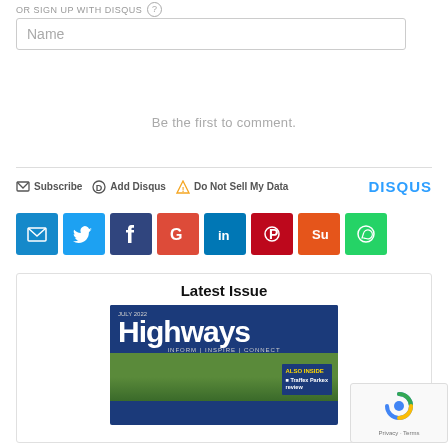OR SIGN UP WITH DISQUS ?
Name
Be the first to comment.
Subscribe  Add Disqus  Do Not Sell My Data  DISQUS
[Figure (infographic): Row of 8 social share buttons: email (@), Twitter, Facebook, Google+, LinkedIn, Pinterest, StumbleUpon, WhatsApp]
Latest Issue
[Figure (photo): Cover of Highways magazine, July 2022, with text INFORM | INSPIRE | CONNECT and ALSO INSIDE Traffex Parkex review]